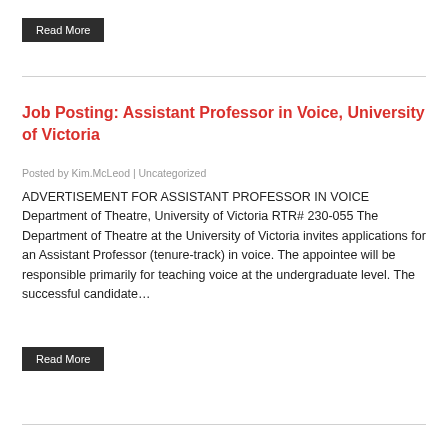Read More
Job Posting: Assistant Professor in Voice, University of Victoria
Posted by Kim.McLeod | Uncategorized
ADVERTISEMENT FOR ASSISTANT PROFESSOR IN VOICE Department of Theatre, University of Victoria RTR# 230-055 The Department of Theatre at the University of Victoria invites applications for an Assistant Professor (tenure-track) in voice. The appointee will be responsible primarily for teaching voice at the undergraduate level. The successful candidate…
Read More